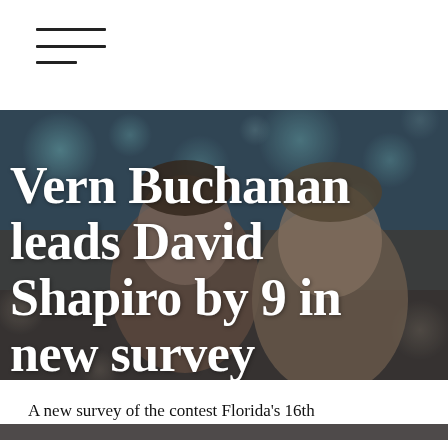≡
[Figure (photo): Two men's faces composited over a bokeh background with teal and warm tones — a political photo illustration for a congressional race article]
Vern Buchanan leads David Shapiro by 9 in new survey
A new survey of the contest Florida's 16th